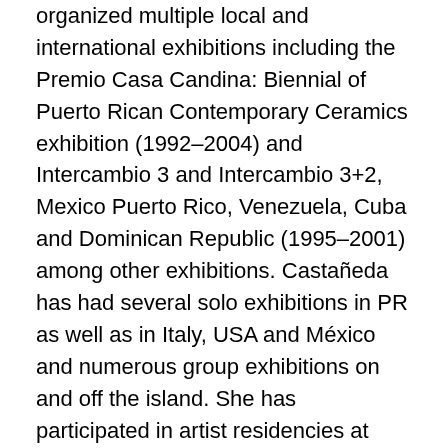organized multiple local and international exhibitions including the Premio Casa Candina: Biennial of Puerto Rican Contemporary Ceramics exhibition (1992–2004) and Intercambio 3 and Intercambio 3+2, Mexico Puerto Rico, Venezuela, Cuba and Dominican Republic (1995–2001) among other exhibitions. Castañeda has had several solo exhibitions in PR as well as in Italy, USA and México and numerous group exhibitions on and off the island. She has participated in artist residencies at Fabbrica Ceramiche Giuseppe Mazzotti, Albisola, Italy, The Clay Studio, Philadelphia, PA, and the Gruber Jez Foundation in Mérida, Yucatán, Mexico. Castañeda's work is in museum collections in Assemini, Sardinia, Italy, Castelli, Teramo, Italy, Albissola Marina, Italy, and in Gurabo, Ponce and San Juan, PR, and other